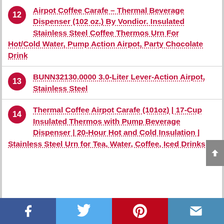12 Airpot Coffee Carafe – Thermal Beverage Dispenser (102 oz.) By Vondior. Insulated Stainless Steel Coffee Thermos Urn For Hot/Cold Water, Pump Action Airpot, Party Chocolate Drink
13 BUNN32130.0000 3.0-Liter Lever-Action Airpot, Stainless Steel
14 Thermal Coffee Airpot Carafe (101oz) | 17-Cup Insulated Thermos with Pump Beverage Dispenser | 20-Hour Hot and Cold Insulation | Stainless Steel Urn for Tea, Water, Coffee, Iced Drinks
Facebook Twitter Pinterest Email